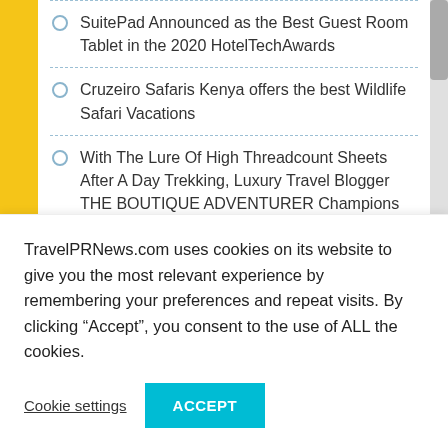SuitePad Announced as the Best Guest Room Tablet in the 2020 HotelTechAwards
Cruzeiro Safaris Kenya offers the best Wildlife Safari Vacations
With The Lure Of High Threadcount Sheets After A Day Trekking, Luxury Travel Blogger THE BOUTIQUE ADVENTURER Champions Chic Solo Explorations
GEANGO at ENSO ANGO – Summer Culture Retreat in Kyoto 2019
UK Investors File Lawsuit in the Canaries
TravelPRNews.com uses cookies on its website to give you the most relevant experience by remembering your preferences and repeat visits. By clicking “Accept”, you consent to the use of ALL the cookies.
Cookie settings
ACCEPT